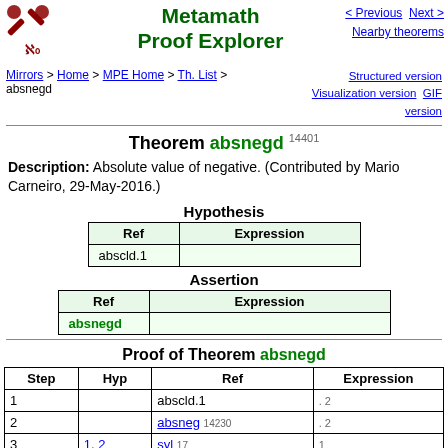Metamath Proof Explorer
Theorem absnegd 14401
Description: Absolute value of negative. (Contributed by Mario Carneiro, 29-May-2016.)
Hypothesis
| Ref | Expression |
| --- | --- |
| abscld.1 |  |
Assertion
| Ref | Expression |
| --- | --- |
| absnegd |  |
Proof of Theorem absnegd
| Step | Hyp | Ref | Expression |
| --- | --- | --- | --- |
| 1 |  | abscld.1 | . 2 |
| 2 |  | absneg 14230 | . 2 |
| 3 | 1, 2 | syl 17 | 1 |